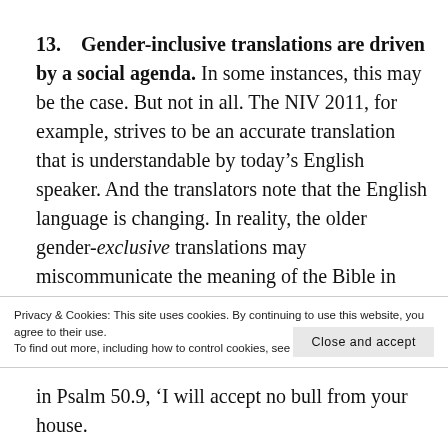13.    Gender-inclusive translations are driven by a social agenda.
In some instances, this may be the case. But not in all. The NIV 2011, for example, strives to be an accurate translation that is understandable by today’s English speaker. And the translators note that the English language is changing. In reality, the older gender-exclusive translations may miscommunicate the meaning of the Bible in today’s world if readers understand the words ‘men,’ ‘brothers,’ and the like in
Privacy & Cookies: This site uses cookies. By continuing to use this website, you agree to their use.
To find out more, including how to control cookies, see here: Cookie Policy
in Psalm 50.9, ‘I will accept no bull from your house.